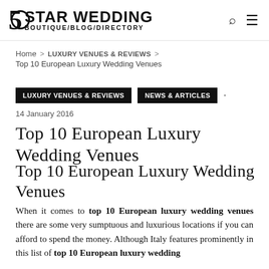5 STAR WEDDING BOUTIQUE/BLOG/DIRECTORY
Home > LUXURY VENUES & REVIEWS > Top 10 European Luxury Wedding Venues
LUXURY VENUES & REVIEWS  NEWS & ARTICLES  14 January 2016
Top 10 European Luxury Wedding Venues
Top 10 European Luxury Wedding Venues
When it comes to top 10 European luxury wedding venues there are some very sumptuous and luxurious locations if you can afford to spend the money. Although Italy features prominently in this list of top 10 European luxury wedding